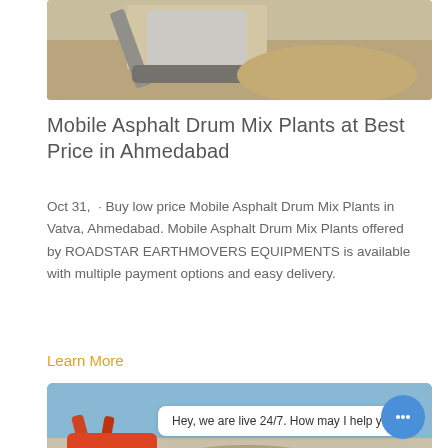[Figure (photo): Construction/mining equipment with crushed stone and machinery, viewed from side]
Mobile Asphalt Drum Mix Plants at Best Price in Ahmedabad
Oct 31,  · Buy low price Mobile Asphalt Drum Mix Plants in Vatva, Ahmedabad. Mobile Asphalt Drum Mix Plants offered by ROADSTAR EARTHMOVERS EQUIPMENTS is available with multiple payment options and easy delivery.
Learn More
[Figure (photo): Construction excavator/machinery at a worksite with blue sky]
Hey, we are live 24/7. How may I help you?